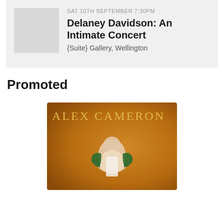SAT 10TH SEPTEMBER 7:30PM
Delaney Davidson: An Intimate Concert
{Suite} Gallery, Wellington
Promoted
[Figure (photo): Alex Cameron promotional concert poster showing a young person leaning forward against an orange background, wearing a white top and green jacket. Text reads ALEX CAMERON in large serif letters.]